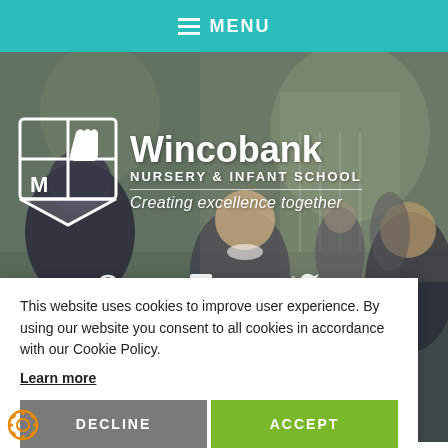MENU
[Figure (screenshot): School website hero image showing children in school uniforms outdoors, with Wincobank Nursery & Infant School logo and tagline overlaid]
Wincobank NURSERY & INFANT SCHOOL Creating excellence together
This website uses cookies to improve user experience. By using our website you consent to all cookies in accordance with our Cookie Policy. Learn more
DECLINE
ACCEPT